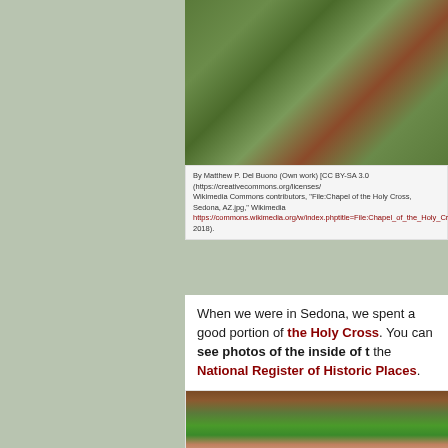[Figure (photo): Aerial or elevated view of red rock landscape in Sedona with green vegetation and trees]
By Matthew P. Del Buono (Own work) [CC BY-SA 3.0 (https://creativecommons.org/licenses/ Wikimedia Commons contributors, "File:Chapel of the Holy Cross, Sedona, AZ.jpg," Wikimedia https://commons.wikimedia.org/w/index.php?title=File:Chapel_of_the_Holy_Cross,_Sedona,_A 2018).
When we were in Sedona, we spent a good portion of the Holy Cross. You can see photos of the inside of the National Register of Historic Places.
I didn't take any photos of the church, but I snapped s landscape, plants, wildlife, and the more modest featu
[Figure (photo): Close-up view of Sedona landscape showing red rock formations with green conifer trees in the foreground]